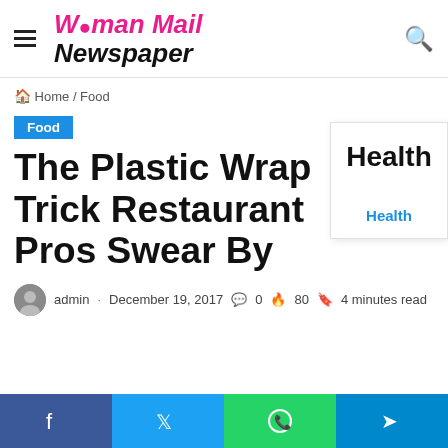Woman Mail Newspaper
Home / Food
Food
The Plastic Wrap Trick Restaurant Pros Swear By
admin · December 19, 2017 · 0 · 80 · 4 minutes read
Health
Health